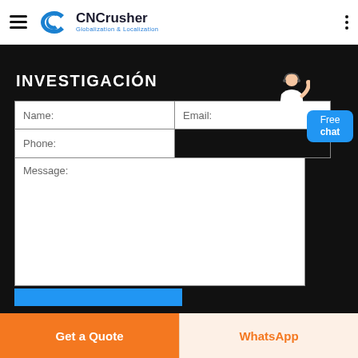[Figure (logo): CNCrusher logo with blue circular CC icon and text 'CNCrusher Globalization & Localization']
INVESTIGACIÓN
[Figure (screenshot): Web contact form with Name, Email, Phone, and Message fields, plus a blue Free chat bubble and an avatar figure]
Get a Quote
WhatsApp